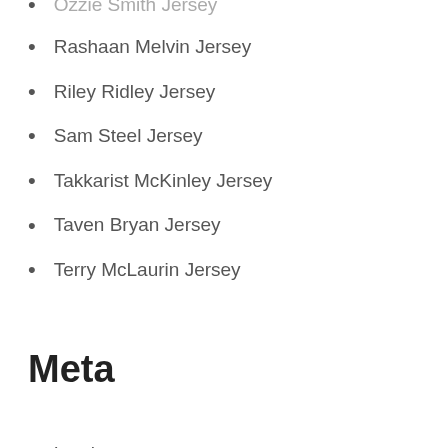Ozzie Smith Jersey (partial, top cut off)
Rashaan Melvin Jersey
Riley Ridley Jersey
Sam Steel Jersey
Takkarist McKinley Jersey
Taven Bryan Jersey
Terry McLaurin Jersey
Meta
Log in
Entries RSS
Comments RSS
WordPress.org